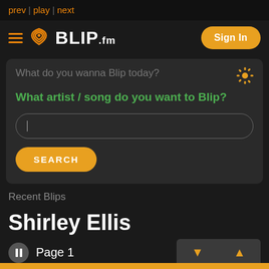prev | play | next
[Figure (logo): Blip.fm logo with hamburger menu, wifi/signal icon, BLIP.fm text, and Sign In button]
What do you wanna Blip today?
What artist / song do you want to Blip?
SEARCH (button)
Recent Blips
Shirley Ellis
Page 1